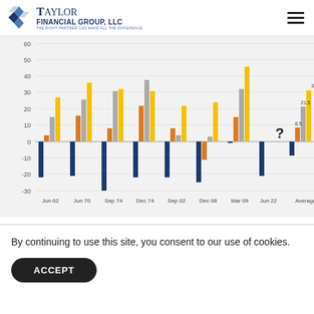Taylor Financial Group, LLC — The right partner can make all the difference
[Figure (grouped-bar-chart): Bear Market Recovery Chart]
Weekly Update: July 18: Click here to
By continuing to use this site, you consent to our use of cookies.